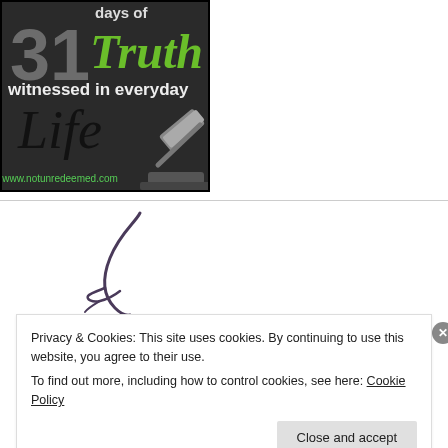[Figure (illustration): Book cover image: '31 days of Truth witnessed in everyday Life' with gavel image and website www.notunredeemed.com, black and white with green text for 'Truth']
[Figure (illustration): Partial cursive/signature style logo or text in dark purple/grey, partially visible]
Privacy & Cookies: This site uses cookies. By continuing to use this website, you agree to their use.
To find out more, including how to control cookies, see here: Cookie Policy
Close and accept